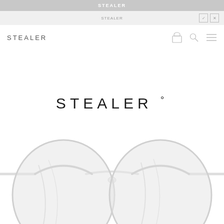STEALER
STEALER
[Figure (logo): STEALER brand logo text in top navigation bar]
[Figure (screenshot): Website screenshot showing STEALER eyewear brand page with large STEALER° logo and a pair of round metal frame sunglasses with light grey/silver lenses photographed on white background]